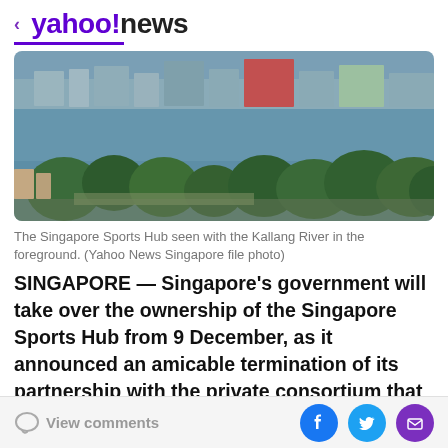< yahoo!news
[Figure (photo): Aerial view of Singapore Sports Hub area with Kallang River in the foreground, surrounded by trees and urban landscape]
The Singapore Sports Hub seen with the Kallang River in the foreground. (Yahoo News Singapore file photo)
SINGAPORE — Singapore's government will take over the ownership of the Singapore Sports Hub from 9 December, as it announced an amicable termination of its partnership with the private consortium that has been running the facility since it opened in 2014.
View comments